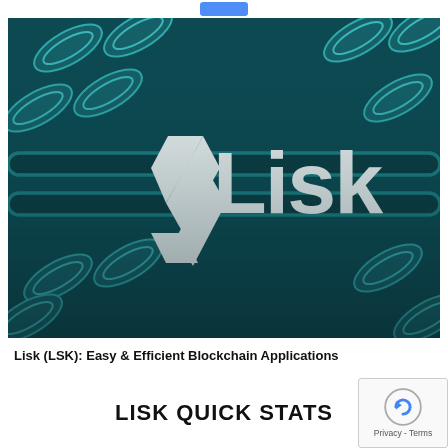[Figure (logo): Lisk blockchain logo on a dark teal background with ornate chain links. White Lisk logo mark (angular diamond shape) and white text 'Lisk' displayed prominently in the center.]
Lisk (LSK): Easy & Efficient Blockchain Applications
LISK QUICK STATS